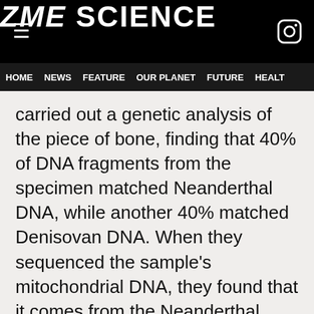ZME SCIENCE
HOME NEWS FEATURE OUR PLANET FUTURE HEALTH
carried out a genetic analysis of the piece of bone, finding that 40% of DNA fragments from the specimen matched Neanderthal DNA, while another 40% matched Denisovan DNA. When they sequenced the sample's mitochondrial DNA, they found that it comes from the Neanderthal lineage. Since mitochondrial DNA is only inherited from the mother, it means that the mother was Neanderthal, which means that the father was a Denisovan.